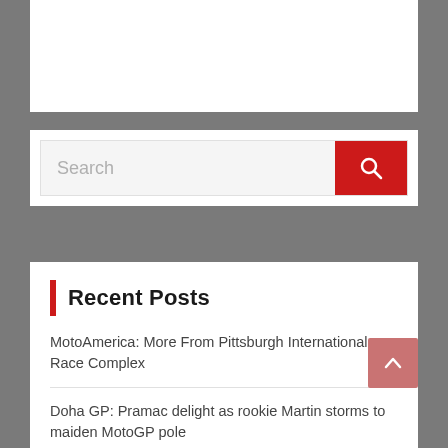[Figure (screenshot): White rectangle at top, partial UI chrome]
[Figure (screenshot): Search bar with red search button and placeholder text 'Search']
Recent Posts
MotoAmerica: More From Pittsburgh International Race Complex
Doha GP: Pramac delight as rookie Martin storms to maiden MotoGP pole
Quartararo quickest in wet/dry Austria Warm Up
MotoGP Champ Joan Mir Fractures Ankle In Vicious High-Side Crash